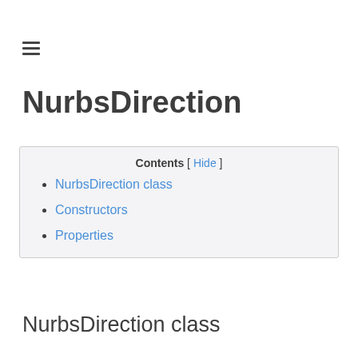≡ (hamburger menu icon)
NurbsDirection
| Contents [ Hide ] |
| --- |
| NurbsDirection class |
| Constructors |
| Properties |
NurbsDirection class